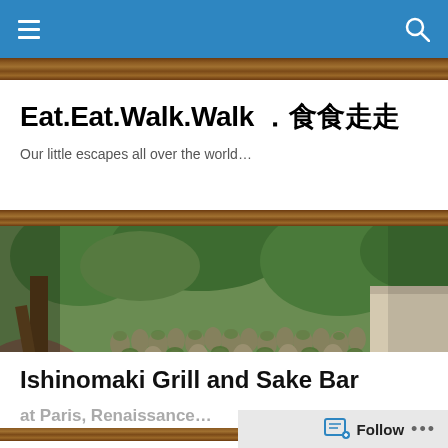Navigation bar with hamburger menu and search icon
Eat.Eat.Walk.Walk . 食食走走
Our little escapes all over the world…
[Figure (photo): A large group of small moss-covered stone Buddha (Rakan) statues arranged in a garden setting with green trees and foliage in the background]
Ishinomaki Grill and Sake Bar
at Paris, Renaissance…
Follow • •  •